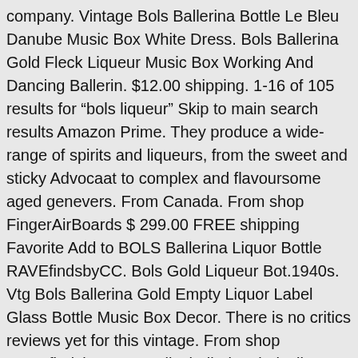company. Vintage Bols Ballerina Bottle Le Bleu Danube Music Box White Dress. Bols Ballerina Gold Fleck Liqueur Music Box Working And Dancing Ballerin. $12.00 shipping. 1-16 of 105 results for "bols liqueur" Skip to main search results Amazon Prime. They produce a wide-range of spirits and liqueurs, from the sweet and sticky Advocaat to complex and flavoursome aged genevers. From Canada. From shop FingerAirBoards $ 299.00 FREE shipping Favorite Add to BOLS Ballerina Liquor Bottle RAVEfindsbyCC. Bols Gold Liqueur Bot.1940s. Vtg Bols Ballerina Gold Empty Liquor Label Glass Bottle Music Box Decor. There is no critics reviews yet for this vintage. From shop RAVEfindsbyCC. Details: ballerina, bols, liqueur, bottle, fully, working, music, dancing, gold, full FREE UK Mainland standard delivery. Item specifics. Bols liqueurs are used worldwide by professional bartenders for making cocktails, but are also drunk a lot at home. Lucas Bols, the world's oldest distilled spirits brand originally established in 1575 in Amsterdam, has relaunched its Dutch Genever gin, a white spirit created almost two centuries ago. £165.83 ex VAT (£265.33 per litre) Add